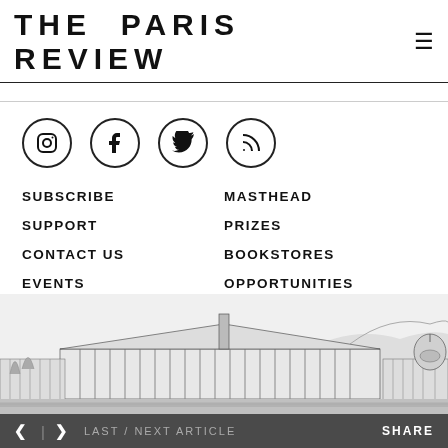THE PARIS REVIEW
[Figure (illustration): Social media icons in circles: Instagram, Facebook, Twitter, RSS]
SUBSCRIBE
SUPPORT
CONTACT US
EVENTS
MEDIA KIT
SUBMISSIONS
MASTHEAD
PRIZES
BOOKSTORES
OPPORTUNITIES
VIDEO
[Figure (illustration): Black and white line drawing of a Parisian cityscape with grand buildings and domed structures]
< > LAST / NEXT ARTICLE    SHARE